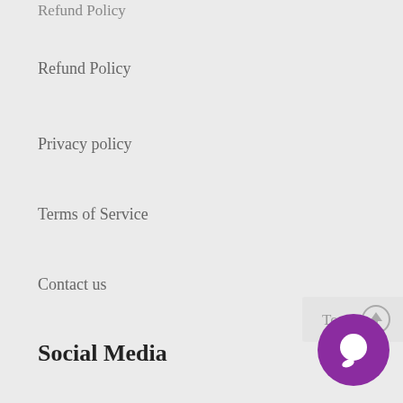Refund Policy
Privacy policy
Terms of Service
Contact us
Social Media
Pinterest
YouTube
Instagram
[Figure (other): Top scroll button with upward arrow icon, circular gray arrow]
[Figure (other): Purple circular chat bubble icon]